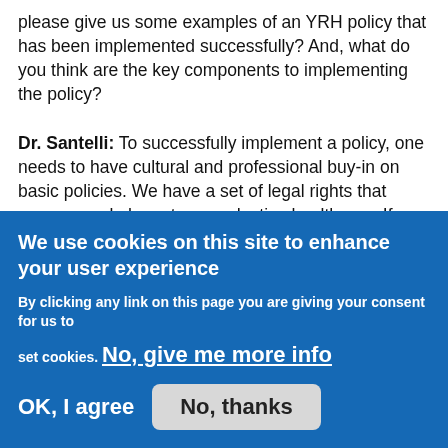please give us some examples of an YRH policy that has been implemented successfully? And, what do you think are the key components to implementing the policy?
Dr. Santelli: To successfully implement a policy, one needs to have cultural and professional buy-in on basic policies. We have a set of legal rights that young people have to reproductive healthcare. If practitioners are not knowledgeable about those, if they don't support them because of their own religious or cultural beliefs, then we see a failure of those policies. In theory, young people are supposed
We use cookies on this site to enhance your user experience
By clicking any link on this page you are giving your consent for us to set cookies. No, give me more info
OK, I agree   No, thanks